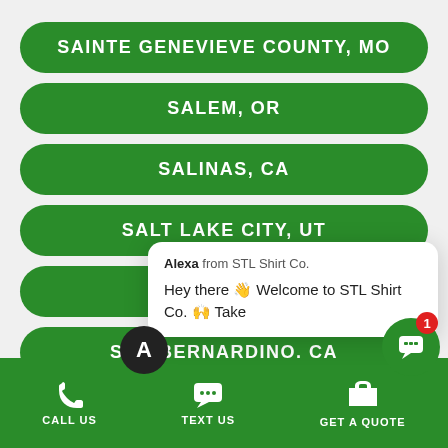SAINTE GENEVIEVE COUNTY, MO
SALEM, OR
SALINAS, CA
SALT LAKE CITY, UT
SAN ANT[ONIO, TX]
SAN BERNARDINO, CA
Alexa from STL Shirt Co.
Hey there 👋 Welcome to STL Shirt Co. 🙌 Take
CALL US   TEXT US   GET A QUOTE